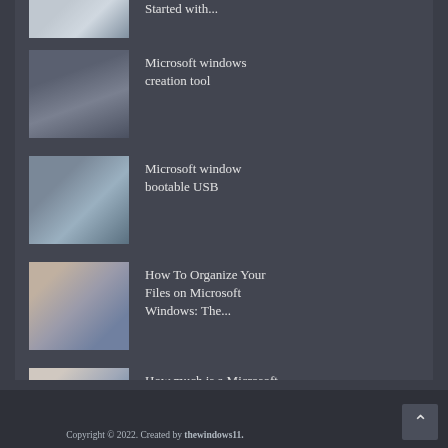Started with...
Microsoft windows creation tool
Microsoft window bootable USB
How To Organize Your Files on Microsoft Windows: The...
How much is a Microsoft Windows laptop
Copyright © 2022. Created by thewindows11.